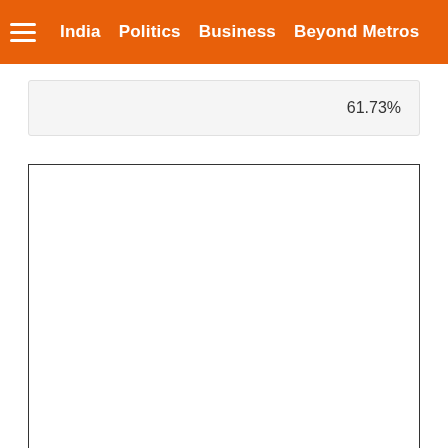India  Politics  Business  Beyond Metros
61.73%
[Figure (other): Empty white rectangle with dark border, likely a placeholder for an image or chart]